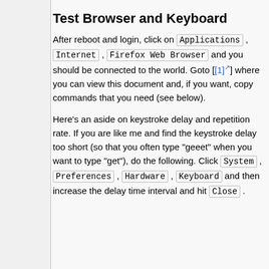Test Browser and Keyboard
After reboot and login, click on Applications , Internet , Firefox Web Browser and you should be connected to the world. Goto [[1]] where you can view this document and, if you want, copy commands that you need (see below).
Here's an aside on keystroke delay and repetition rate. If you are like me and find the keystroke delay too short (so that you often type "geeet" when you want to type "get"), do the following. Click System , Preferences , Hardware , Keyboard and then increase the delay time interval and hit Close .